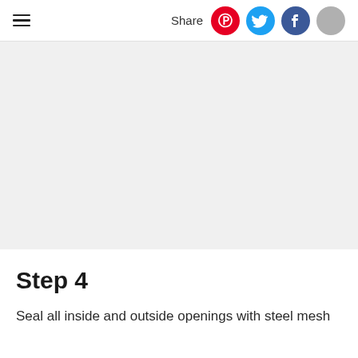≡  Share
[Figure (photo): Light gray placeholder image area, no visible content]
Step 4
Seal all inside and outside openings with steel mesh